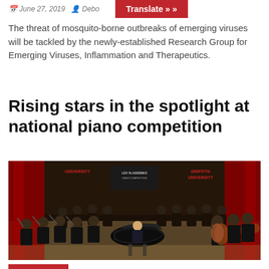June 27, 2019   Debo[ra]
The threat of mosquito-borne outbreaks of emerging viruses will be tackled by the newly-established Research Group for Emerging Viruses, Inflammation and Therapeutics.
Rising stars in the spotlight at national piano competition
[Figure (photo): Orchestra performing on stage with a grand piano in the foreground, red curtains and university banners in the background. Banners read UNIVERSITY, LEV VLASSENKO PIANO COMPETITION, and GRIFFITH UNIVERSITY.]